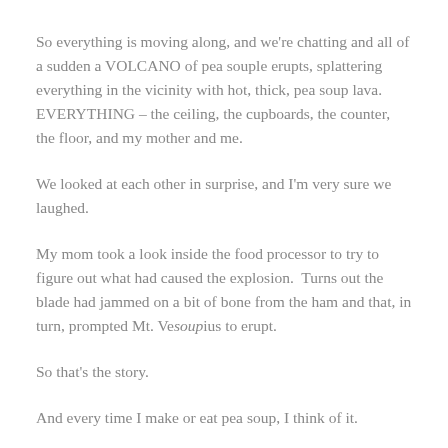So everything is moving along, and we're chatting and all of a sudden a VOLCANO of pea souple erupts, splattering everything in the vicinity with hot, thick, pea soup lava.  EVERYTHING – the ceiling, the cupboards, the counter, the floor, and my mother and me.
We looked at each other in surprise, and I'm very sure we laughed.
My mom took a look inside the food processor to try to figure out what had caused the explosion.  Turns out the blade had jammed on a bit of bone from the ham and that, in turn, prompted Mt. Vesoupius to erupt.
So that's the story.
And every time I make or eat pea soup, I think of it.